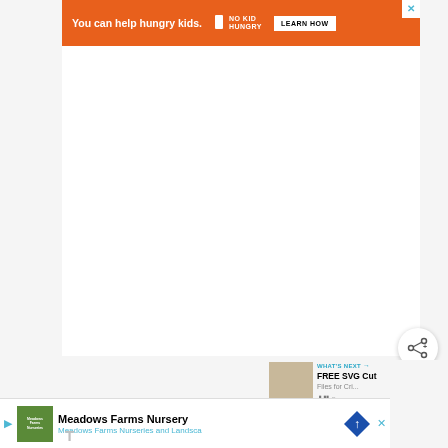[Figure (other): Orange advertisement banner for No Kid Hungry: 'You can help hungry kids.' with No Kid Hungry logo and a 'LEARN HOW' button, with a close X in the top-right corner.]
[Figure (other): Large white blank content area in the center of the page, representing an empty web page body.]
[Figure (other): Circular white share button with a share/add icon (+) in the lower right area.]
[Figure (other): WHAT'S NEXT panel showing a thumbnail image and text 'FREE SVG Cut Files for Cri...' with a counter/timestamp.]
[Figure (other): Bottom advertisement for Meadows Farms Nursery with logo, 'Meadows Farms Nurseries and Landsca...' text, and a blue road sign icon. Has play and close buttons.]
T